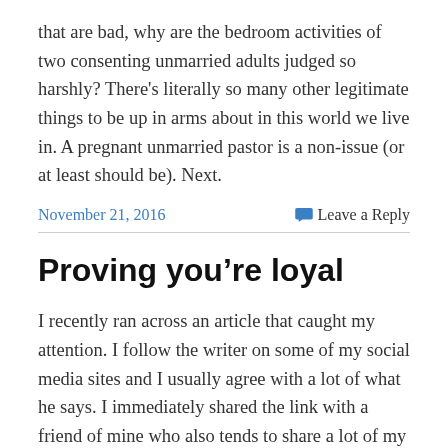that are bad, why are the bedroom activities of two consenting unmarried adults judged so harshly? There's literally so many other legitimate things to be up in arms about in this world we live in. A pregnant unmarried pastor is a non-issue (or at least should be). Next.
November 21, 2016
Leave a Reply
Proving you’re loyal
I recently ran across an article that caught my attention. I follow the writer on some of my social media sites and I usually agree with a lot of what he says. I immediately shared the link with a friend of mine who also tends to share a lot of my viewpoints and she agreed 100% with